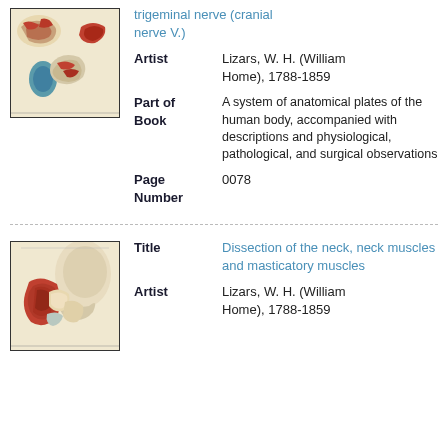[Figure (illustration): Anatomical illustration showing dissections related to the trigeminal nerve (cranial nerve V.), with multiple views of skull/nerve anatomy in red and teal tones on aged paper background]
trigeminal nerve (cranial nerve V.)
Artist: Lizars, W. H. (William Home), 1788-1859
Part of Book: A system of anatomical plates of the human body, accompanied with descriptions and physiological, pathological, and surgical observations
Page Number: 0078
[Figure (illustration): Anatomical illustration showing dissection of the neck, neck muscles and masticatory muscles, with red muscle tissue and pale skull visible on aged paper]
Title: Dissection of the neck, neck muscles and masticatory muscles
Artist: Lizars, W. H. (William Home), 1788-1859